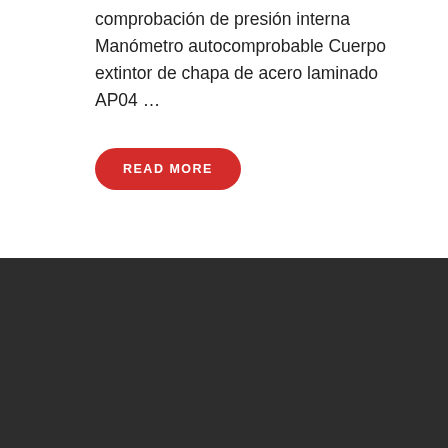comprobación de presión interna Manómetro autocomprobable Cuerpo extintor de chapa de acero laminado AP04 …
READ MORE
[Figure (logo): AUXI-FOC logo with fire extinguisher shield icon and brand name in white on dark background]
Somos una empresa autorizada por la Generalitat de